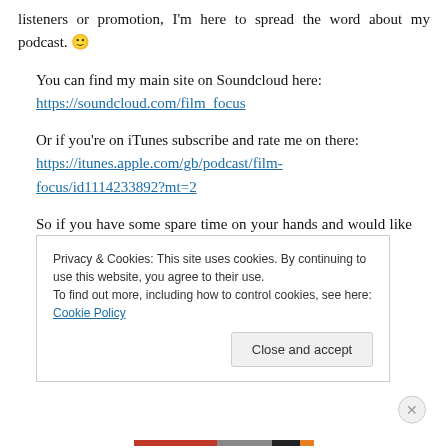listeners or promotion, I'm here to spread the word about my podcast. 🙂
You can find my main site on Soundcloud here: https://soundcloud.com/film_focus
Or if you're on iTunes subscribe and rate me on there: https://itunes.apple.com/gb/podcast/film-focus/id1114233892?mt=2
So if you have some spare time on your hands and would like to listen to the ramblings of a passionate/strange man then please check it out, and share it with your friends if
Privacy & Cookies: This site uses cookies. By continuing to use this website, you agree to their use.
To find out more, including how to control cookies, see here: Cookie Policy